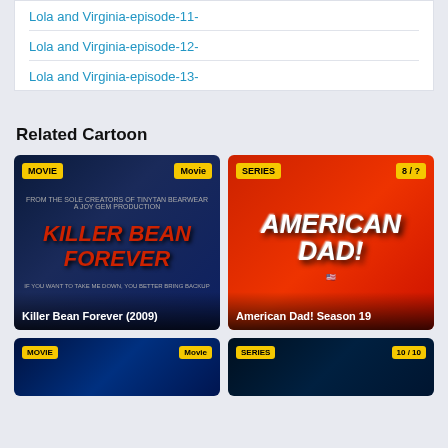Lola and Virginia-episode-11-
Lola and Virginia-episode-12-
Lola and Virginia-episode-13-
Related Cartoon
[Figure (other): Movie card: Killer Bean Forever (2009) with MOVIE badge and Movie badge]
[Figure (other): Series card: American Dad! Season 19 with SERIES badge and 8/? badge]
[Figure (other): Movie card bottom row with MOVIE badge and Movie badge]
[Figure (other): Series card bottom row with SERIES badge and 10/10 badge]